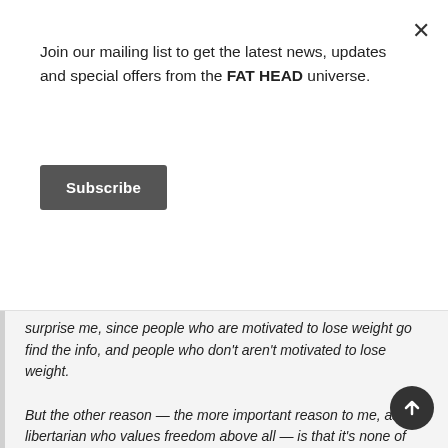Join our mailing list to get the latest news, updates and special offers from the FAT HEAD universe.
Subscribe
surprise me, since people who are motivated to lose weight go find the info, and people who don't aren't motivated to lose weight.

But the other reason — the more important reason to me, as a libertarian who values freedom above all — is that it's none of the government's business, regardless of whether you or I think calorie counts displayed on menus are a good idea. I'd be against these laws even if people did respond to them by eating less. Health in this country would vastly improve if we outlawed sugar and HFCS, but I'd be